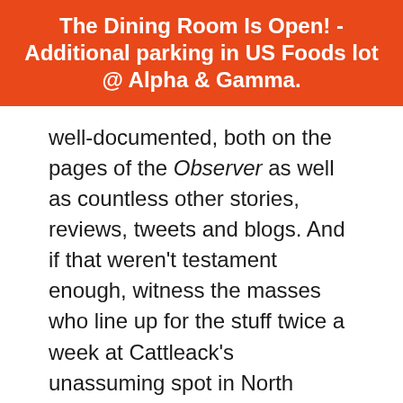The Dining Room Is Open! - Additional parking in US Foods lot @ Alpha & Gamma.
well-documented, both on the pages of the Observer as well as countless other stories, reviews, tweets and blogs. And if that weren't testament enough, witness the masses who line up for the stuff twice a week at Cattleack's unassuming spot in North Dallas. If His Airness was a brisket, he would be the Akaushi brisket from Cattleack. Once you experience the